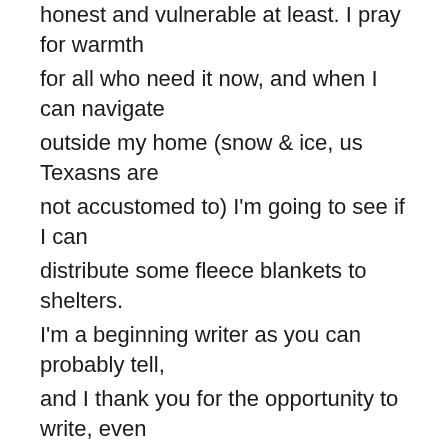honest and vulnerable at least. I pray for warmth for all who need it now, and when I can navigate outside my home (snow & ice, us Texasns are not accustomed to) I'm going to see if I can distribute some fleece blankets to shelters. I'm a beginning writer as you can probably tell, and I thank you for the opportunity to write, even my heart. I so appreciate your candidness about how the CHALLENGER cajoled your heart, which stirred things in myself as well. Your book had an impact on my writing coach Jo Ann Fore, and when I looked it up, GOD immediately got my heart in a new way through you. The way is new to me, but it's been in HIS plans all along. I honor your obedience to HIM and sincere appreciation and gratitude to you for setting the